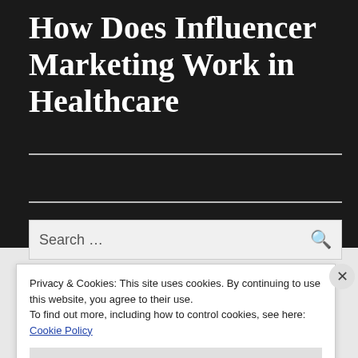How Does Influencer Marketing Work in Healthcare
Search ...
Privacy & Cookies: This site uses cookies. By continuing to use this website, you agree to their use.
To find out more, including how to control cookies, see here:
Cookie Policy
Close and accept